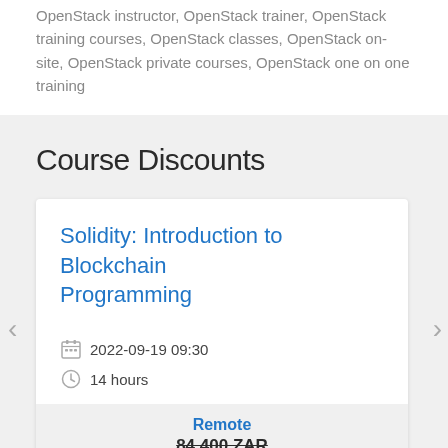OpenStack instructor, OpenStack trainer, OpenStack training courses, OpenStack classes, OpenStack on-site, OpenStack private courses, OpenStack one on one training
Course Discounts
Solidity: Introduction to Blockchain Programming
2022-09-19 09:30
14 hours
Remote
84,400 ZAR